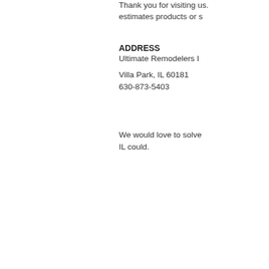Thank you for visiting us. estimates products or s
ADDRESS
Ultimate Remodelers I
Villa Park, IL 60181
630-873-5403
We would love to solve your needs and offer you IL could.